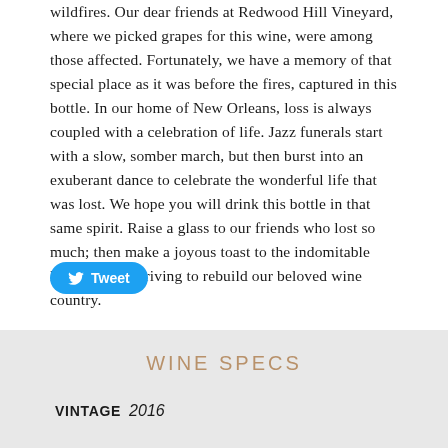wildfires. Our dear friends at Redwood Hill Vineyard, where we picked grapes for this wine, were among those affected. Fortunately, we have a memory of that special place as it was before the fires, captured in this bottle. In our home of New Orleans, loss is always coupled with a celebration of life. Jazz funerals start with a slow, somber march, but then burst into an exuberant dance to celebrate the wonderful life that was lost. We hope you will drink this bottle in that same spirit. Raise a glass to our friends who lost so much; then make a joyous toast to the indomitable human spirit striving to rebuild our beloved wine country.
[Figure (other): Twitter Tweet button with bird icon]
WINE SPECS
VINTAGE 2016